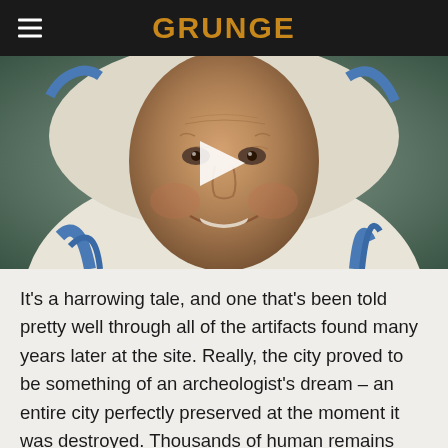GRUNGE
[Figure (photo): Close-up photograph of an elderly woman smiling, wearing a white and blue religious habit (nun's habit). A video play button triangle is overlaid in the center of the image.]
It's a harrowing tale, and one that's been told pretty well through all of the artifacts found many years later at the site. Really, the city proved to be something of an archeologist's dream – an entire city perfectly preserved at the moment it was destroyed. Thousands of human remains were found exactly where they died, art and valuables have been dug up, and even some baked goods have been preserved by the ash, looking pretty similar to